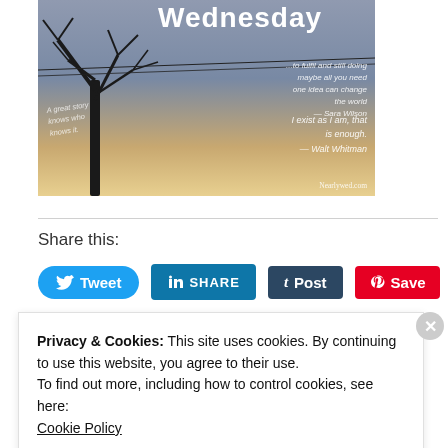[Figure (photo): Inspirational Wednesday image with bare tree silhouette against a twilight sky, overlaid with motivational quotes including 'I exist as I am, that is enough - Walt Whitman' and watermark 'Nearlywed.com']
Share this:
[Figure (other): Social share buttons: Tweet (Twitter/X), SHARE (LinkedIn), Post (Tumblr), Save (Pinterest)]
Privacy & Cookies: This site uses cookies. By continuing to use this website, you agree to their use.
To find out more, including how to control cookies, see here:
Cookie Policy
Close and accept